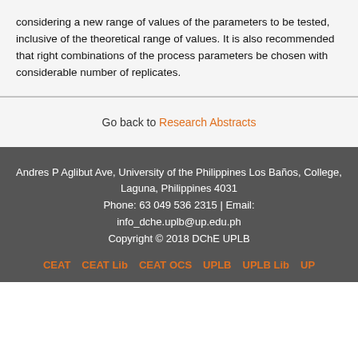considering a new range of values of the parameters to be tested, inclusive of the theoretical range of values. It is also recommended that right combinations of the process parameters be chosen with considerable number of replicates.
Go back to Research Abstracts
Andres P Aglibut Ave, University of the Philippines Los Baños, College, Laguna, Philippines 4031
Phone: 63 049 536 2315 | Email: info_dche.uplb@up.edu.ph
Copyright © 2018 DChE UPLB
CEAT | CEAT Lib | CEAT OCS | UPLB | UPLB Lib | UP